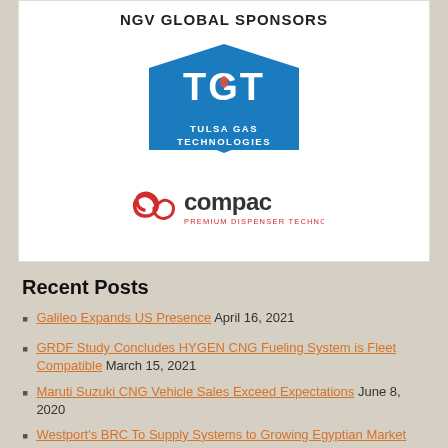NGV GLOBAL SPONSORS
[Figure (logo): TGT Tulsa Gas Technologies logo — blue shield shape with white TGT letters and a flame/droplet icon, company name below]
[Figure (logo): Compac Premium Dispenser Technology logo — red swirl icon with 'compac' text in dark grey and red tagline]
Recent Posts
Galileo Expands US Presence April 16, 2021
GRDF Study Concludes HYGEN CNG Fueling System is Fleet Compatible March 15, 2021
Maruti Suzuki CNG Vehicle Sales Exceed Expectations June 8, 2020
Westport's BRC To Supply Systems to Growing Egyptian Market June 1, 2020